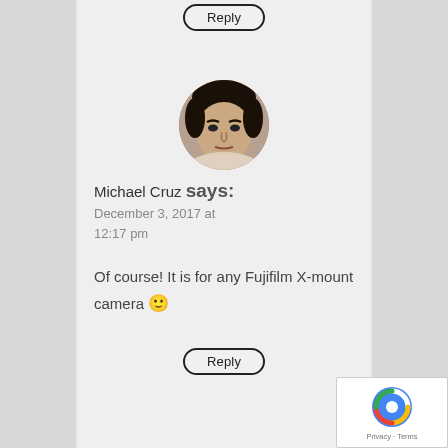[Figure (other): Reply button at top, partially visible]
[Figure (photo): Circular avatar photo of Michael Cruz, a man looking at the camera]
Michael Cruz says:
December 3, 2017 at 12:17 pm
Of course! It is for any Fujifilm X-mount camera 🙂
[Figure (other): Reply button]
[Figure (other): reCAPTCHA badge with Privacy and Terms links]